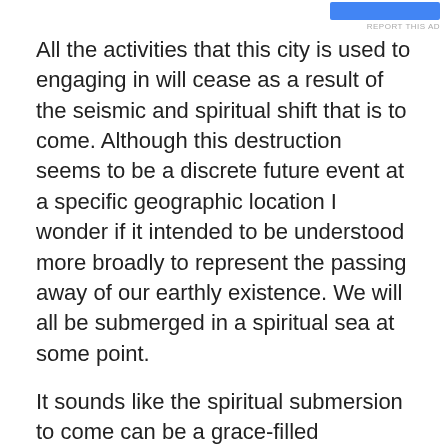[Figure (other): Blue advertisement button/banner at top right]
REPORT THIS AD
All the activities that this city is used to engaging in will cease as a result of the seismic and spiritual shift that is to come. Although this destruction seems to be a discrete future event at a specific geographic location I wonder if it intended to be understood more broadly to represent the passing away of our earthly existence. We will all be submerged in a spiritual sea at some point.
It sounds like the spiritual submersion to come can be a grace-filled dismount and river crossing or it can be a frantic drowning as we seek to hold onto all the things we imagine we need to take with us. The difference may be how much luggage we are hauling along.
Prayer: God prepare our hearts and spirits for the